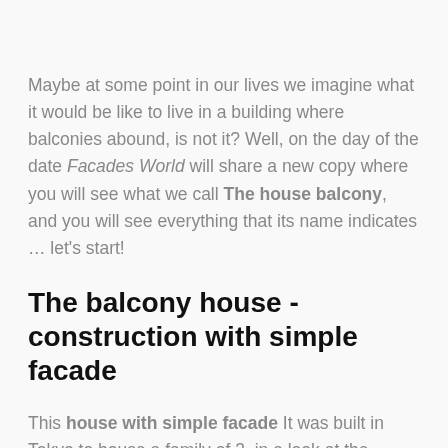Maybe at some point in our lives we imagine what it would be like to live in a building where balconies abound, is not it? Well, on the day of the date Facades World will share a new copy where you will see what we call The house balcony, and you will see everything that its name indicates … let's start!
The balcony house - construction with simple facade
This house with simple facade It was built in Tokyo to house a family of 3, in a look at the